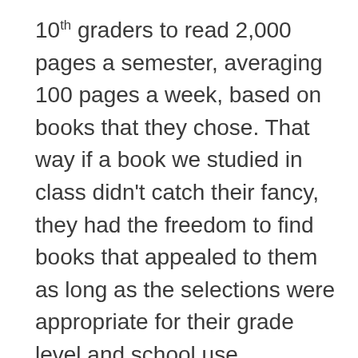10th graders to read 2,000 pages a semester, averaging 100 pages a week, based on books that they chose. That way if a book we studied in class didn't catch their fancy, they had the freedom to find books that appealed to them as long as the selections were appropriate for their grade level and school use.

However, after struggling how to